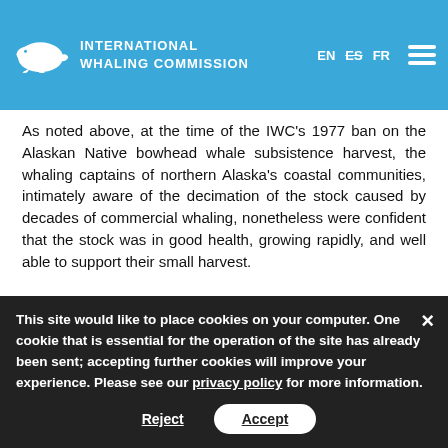INTERNATIONAL WHALING COMMISSION | EN ES FR
As noted above, at the time of the IWC's 1977 ban on the Alaskan Native bowhead whale subsistence harvest, the whaling captains of northern Alaska's coastal communities, intimately aware of the decimation of the stock caused by decades of commercial whaling, nonetheless were confident that the stock was in good health, growing rapidly, and well able to support their small harvest.
The Rock Crew of Point Hope push their umiaq past polar bear footprints over very dangerous thin and cracked ice
This site would like to place cookies on your computer. One cookie that is essential for the operation of the site has already been sent; accepting further cookies will improve your experience. Please see our privacy policy for more information.